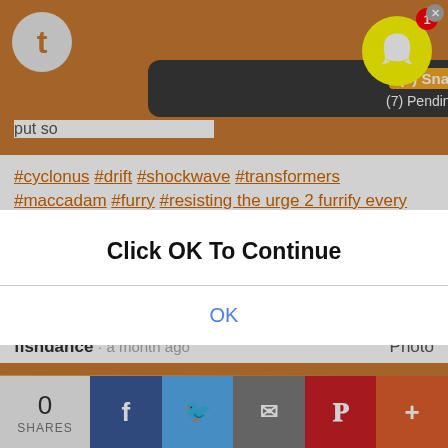[Figure (screenshot): Mobile browser screenshot showing a Tumblr post with Snapchat notification overlay, a 'Click OK To Continue' modal dialog, hashtags, notes, share bar at bottom. Robot/Transformers artwork visible in background.]
(7) Snapchat
(7) Pending Snaps
put so
#cyclonus #drift #shockwave #transformers #maccadam #furry #resisting the urge 2 furrify every giant robot
1K notes
fishdance · a month ago
Photo
Click OK To Continue
OK
0
SHARES